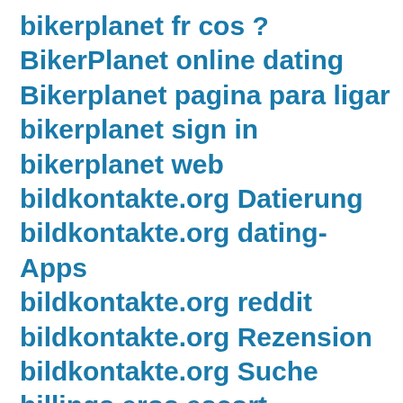bikerplanet fr cos ?
BikerPlanet online dating
Bikerplanet pagina para ligar
bikerplanet sign in
bikerplanet web
bildkontakte.org Datierung
bildkontakte.org dating-Apps
bildkontakte.org reddit
bildkontakte.org Rezension
bildkontakte.org Suche
billings eros escort